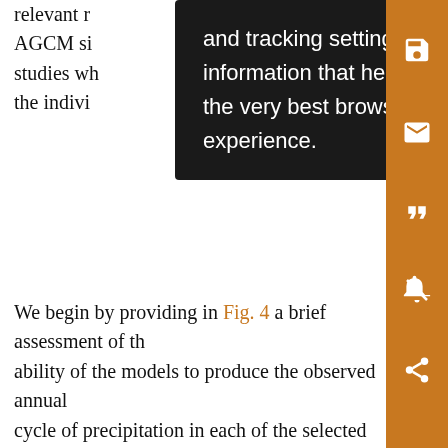relevant r... and tracking settings to store information that help give you the very best browsing experience. AGCM si... ey studies wh... ed b the indivi...
We begin by providing in Fig. 4 a brief assessment of the ability of the models to produce the observed annual cycle of precipitation in each of the selected regions (see the boxes in Figs. 5–8 for the definitions of the regions). This is also meant to facilitate the following discussion about the links to SST, by giving the reader an assessment of the timing of the wet and dry seasons in each region. Overall, the models do a reasonable job in reproducing the observed annual cycle, although the peak rainfall tends to be underestimated especially in the tropical land regions (northern South America–Central America, northern Equatoria and Indonesia).6 It is...